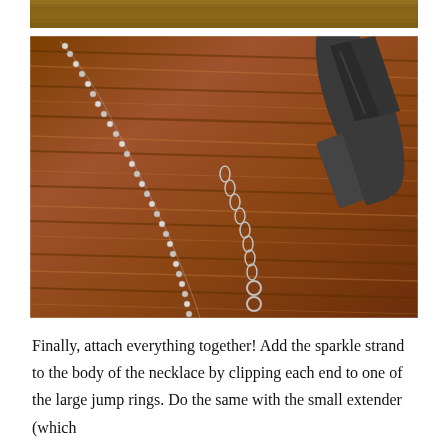[Figure (photo): Partial cropped photo at top of page showing a wooden surface background, likely continuation of the main photo below.]
[Figure (photo): Photo of a wooden table surface with two silver jewelry chains (one with small sparkle/rhinestone beads, one a simple link extender chain with jump rings at the end) and a pair of dark metal pliers in the upper right corner.]
Finally, attach everything together! Add the sparkle strand to the body of the necklace by clipping each end to one of the large jump rings. Do the same with the small extender (which